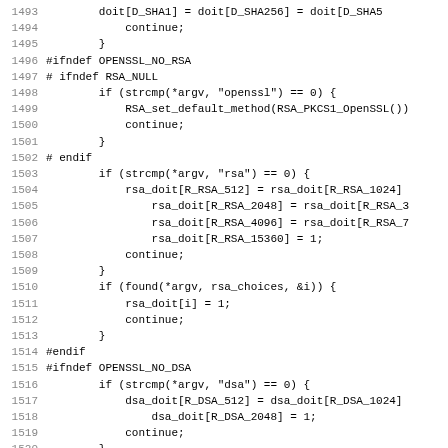[Figure (screenshot): Source code listing in C, lines 1493-1524+, showing OpenSSL speed benchmark code with conditionals for RSA and DSA algorithm selection using preprocessor directives and strcmp checks.]